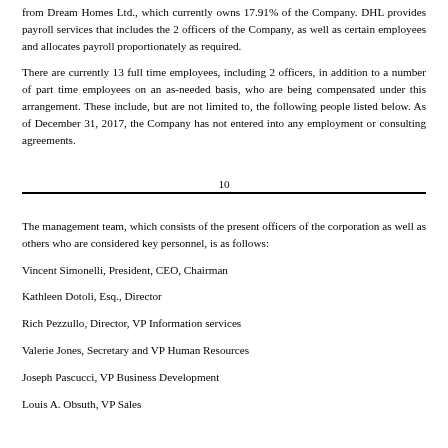from Dream Homes Ltd., which currently owns 17.91% of the Company. DHL provides payroll services that includes the 2 officers of the Company, as well as certain employees and allocates payroll proportionately as required.
There are currently 13 full time employees, including 2 officers, in addition to a number of part time employees on an as-needed basis, who are being compensated under this arrangement. These include, but are not limited to, the following people listed below. As of December 31, 2017, the Company has not entered into any employment or consulting agreements.
10
The management team, which consists of the present officers of the corporation as well as others who are considered key personnel, is as follows:
Vincent Simonelli, President, CEO, Chairman
Kathleen Dotoli, Esq., Director
Rich Pezzullo, Director, VP Information services
Valerie Jones, Secretary and VP Human Resources
Joseph Pascucci, VP Business Development
Louis A. Obsuth, VP Sales